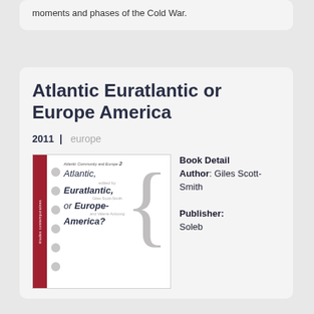moments and phases of the Cold War.
Atlantic Euratlantic or Europe America
2011 | europe
[Figure (illustration): Book cover for Atlantic, Euratlantic, or Europe-America? edited by Giles Scott-Smith and Valerie Aubourg. Atlantic Community and Europe series, volume 2. Cover shows series title, dots, and a large curly brace on the right.]
Book Detail Author: Giles Scott-Smith Publisher: Soleb